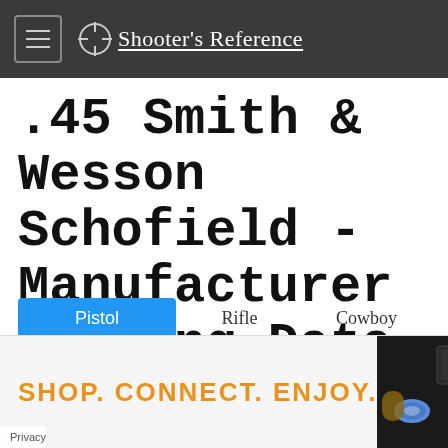Shooter's Reference
.45 Smith & Wesson Schofield - Manufacturer Loading Data
Pistol
Rifle
Cowboy
[Figure (other): Share icon (orange arrow pointing up-right)]
[Figure (advertisement): Ad banner reading SHOP. CONNECT. ENJOY. with product images on right side]
Privacy